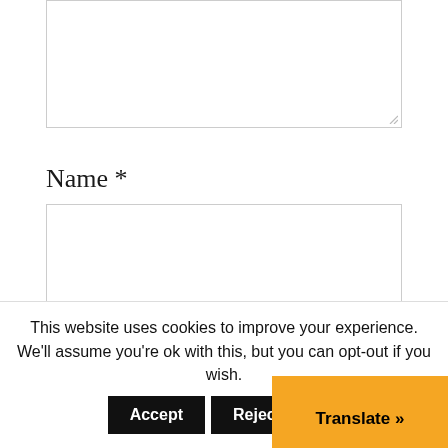[Figure (screenshot): A textarea input box (empty) with a resize handle in the bottom-right corner, representing a comment or message field on a web form.]
Name *
[Figure (screenshot): An empty text input box for the Name field.]
Email *
[Figure (screenshot): An empty text input box for the Email field.]
This website uses cookies to improve your experience. We'll assume you're ok with this, but you can opt-out if you wish.
Accept   Reject   Rea...   Translate »